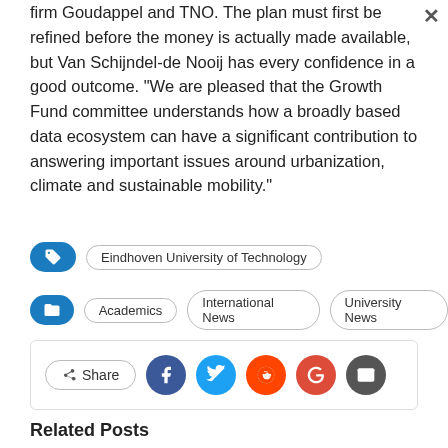firm Goudappel and TNO. The plan must first be refined before the money is actually made available, but Van Schijndel-de Nooij has every confidence in a good outcome. “We are pleased that the Growth Fund committee understands how a broadly based data ecosystem can have a significant contribution to answering important issues around urbanization, climate and sustainable mobility.”
Eindhoven University of Technology
Academics | International News | University News
Share
Related Posts